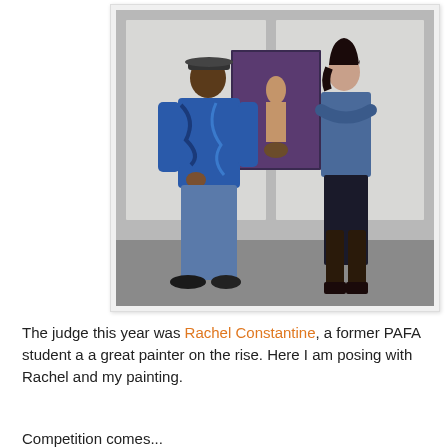[Figure (photo): Two people standing in front of a painting in a gallery or classroom setting. On the left is a man wearing a blue patterned shirt, jeans, and a black hat. On the right is a woman in a blue long-sleeve top and dark jeans with tall dark boots. Between them hangs a figurative oil painting of a seated nude figure.]
The judge this year was Rachel Constantine, a former PAFA student a a great painter on the rise. Here I am posing with Rachel and my painting.
Competition comes...